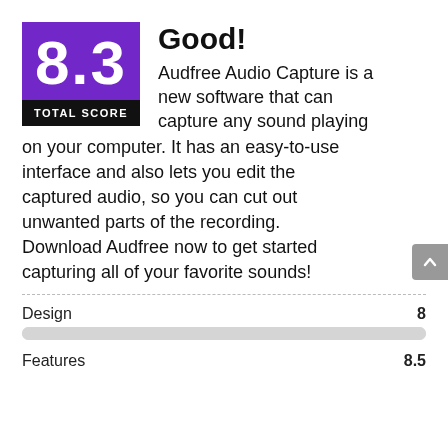[Figure (other): Score box showing 8.3 in purple with 'TOTAL SCORE' label in black below]
Good!
Audfree Audio Capture is a new software that can capture any sound playing on your computer. It has an easy-to-use interface and also lets you edit the captured audio, so you can cut out unwanted parts of the recording. Download Audfree now to get started capturing all of your favorite sounds!
Design 8
Features 8.5